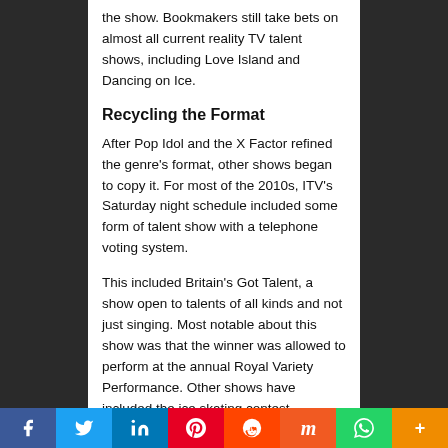the show. Bookmakers still take bets on almost all current reality TV talent shows, including Love Island and Dancing on Ice.
Recycling the Format
After Pop Idol and the X Factor refined the genre's format, other shows began to copy it. For most of the 2010s, ITV's Saturday night schedule included some form of talent show with a telephone voting system.
This included Britain's Got Talent, a show open to talents of all kinds and not just singing. Most notable about this show was that the winner was allowed to perform at the annual Royal Variety Performance. Other shows have included the ice skating contest, Dancing on Ice; a celebrity diving contest called
f  Twitter  in  Pinterest  Reddit  Mix  WhatsApp  More